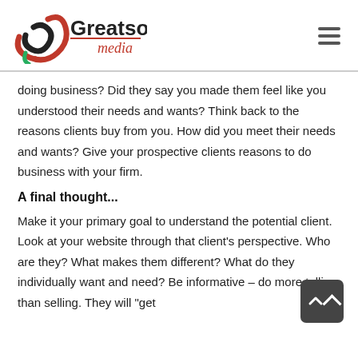Greatson media
doing business? Did they say you made them feel like you understood their needs and wants? Think back to the reasons clients buy from you. How did you meet their needs and wants? Give your prospective clients reasons to do business with your firm.
A final thought...
Make it your primary goal to understand the potential client. Look at your website through that client's perspective. Who are they? What makes them different? What do they individually want and need? Be informative – do more telling than selling. They will "get